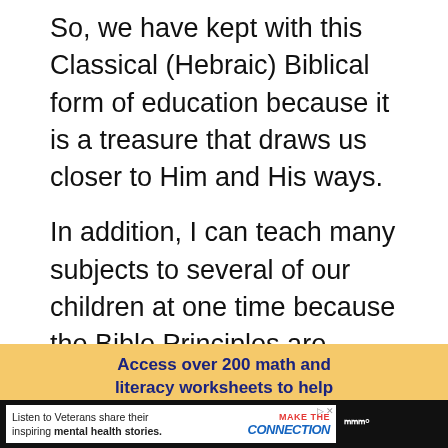So, we have kept with this Classical (Hebraic) Biblical form of education because it is a treasure that draws us closer to Him and His ways.
In addition, I can teach many subjects to several of our children at one time because the Bible Principles are overarching.
Access over 200 math and literacy worksheets to help kids!
Listen to Veterans share their inspiring mental health stories. MAKE THE CONNECTION